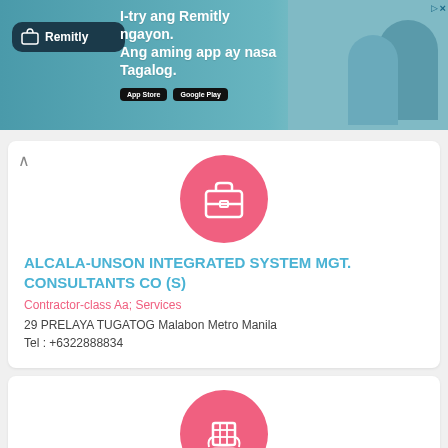[Figure (screenshot): Remitly advertisement banner - 'I-try ang Remitly ngayon. Ang aming app ay nasa Tagalog.' with App Store and Google Play badges]
[Figure (logo): Pink circle with white briefcase/bag icon representing a consulting company]
ALCALA-UNSON INTEGRATED SYSTEM MGT. CONSULTANTS CO (S)
Contractor-class Aa; Services
29 PRELAYA TUGATOG Malabon Metro Manila
Tel : +6322888834
[Figure (logo): Pink circle with white building/grid icon representing AMLINK System Solution Co]
AMLINK SYSTEM SOLUTION CO